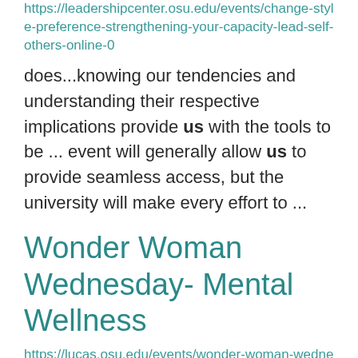https://leadershipcenter.osu.edu/events/change-style-preference-strengthening-your-capacity-lead-self-others-online-0
does...knowing our tendencies and understanding their respective implications provide us with the tools to be ... event will generally allow us to provide seamless access, but the university will make every effort to ...
Wonder Woman Wednesday- Mental Wellness
https://lucas.osu.edu/events/wonder-woman-wednesday-mental-wellness
Community Development program through Medina County Extension. We